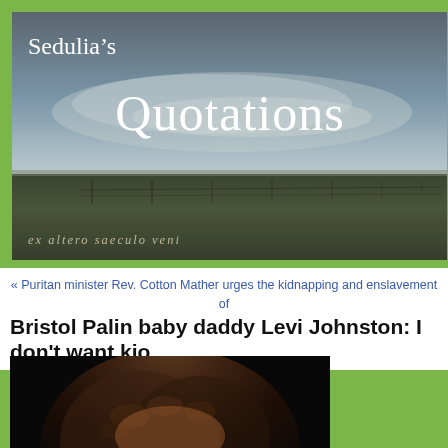[Figure (illustration): Sedulia's Quotations website header banner with dark stormy sky over flat prairie/grassland, white text reading Sedulia's and Quotations, italic text 'ex altero saeculo veni' at bottom left]
« Puritan minister Rev. Cotton Mather urges the kidnapping and enslavement of Quaker William Penn and friends | Main | Atheist Hume forced to say Lord's Pray…
Bristol Palin baby daddy Levi Johnston: I don't want kio…
[Figure (photo): Photo of a young person with curly dark hair, partially visible, dark background]